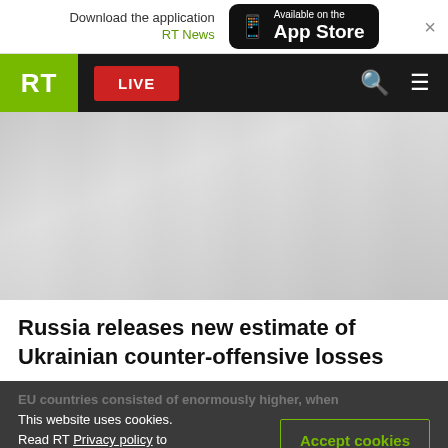Download the application RT News | Available on the App Store
[Figure (screenshot): RT News website navigation bar with green RT logo, red LIVE button, search icon and menu icon on black background]
[Figure (photo): Blurred/faded article image placeholder]
Russia releases new estimate of Ukrainian counter-offensive losses
This website uses cookies. Read RT Privacy policy to find out more.
Accept cookies